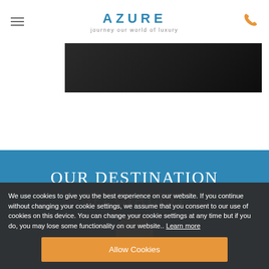AZURE – journey our world of luxury
[Figure (photo): Dark landscape/travel photo partially visible at top of page]
OUR DESTINATION SPECIALIST
[Figure (photo): Small circular avatar photo of a person]
We use cookies to give you the best experience on our website. If you continue without changing your cookie settings, we assume that you consent to our use of cookies on this device. You can change your cookie settings at any time but if you do, you may lose some functionality on our website.. Learn more
Allow Cookies